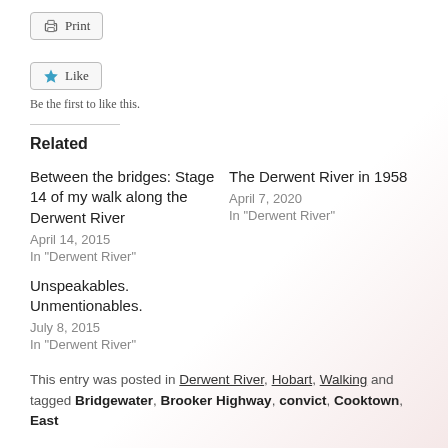[Figure (screenshot): Print button with printer icon]
[Figure (screenshot): Like button with star icon]
Be the first to like this.
Related
Between the bridges: Stage 14 of my walk along the Derwent River
April 14, 2015
In "Derwent River"
The Derwent River in 1958
April 7, 2020
In "Derwent River"
Unspeakables. Unmentionables.
July 8, 2015
In "Derwent River"
This entry was posted in Derwent River, Hobart, Walking and tagged Bridgewater, Brooker Highway, convict, Cooktown, East